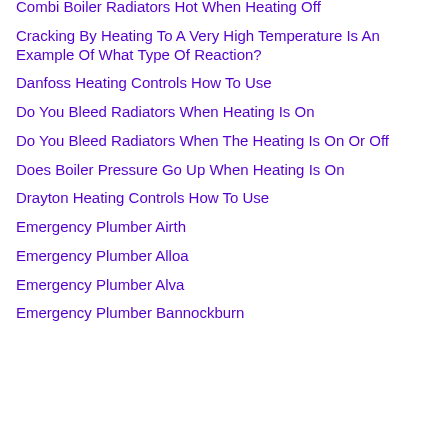Combi Boiler Radiators Hot When Heating Off
Cracking By Heating To A Very High Temperature Is An Example Of What Type Of Reaction?
Danfoss Heating Controls How To Use
Do You Bleed Radiators When Heating Is On
Do You Bleed Radiators When The Heating Is On Or Off
Does Boiler Pressure Go Up When Heating Is On
Drayton Heating Controls How To Use
Emergency Plumber Airth
Emergency Plumber Alloa
Emergency Plumber Alva
Emergency Plumber Bannockburn